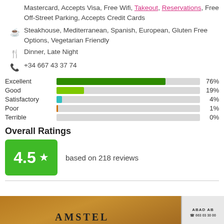Mastercard, Accepts Visa, Free Wifi, Takeout, Reservations, Free Off-Street Parking, Accepts Credit Cards
Steakhouse, Mediterranean, Spanish, European, Gluten Free Options, Vegetarian Friendly
Dinner, Late Night
+34 667 43 37 74
[Figure (bar-chart): Rating distribution]
Overall Ratings
4.5 ★ based on 218 reviews
[Figure (photo): Photo of Amstel beer bottles/cans with ABAD signage visible on right]